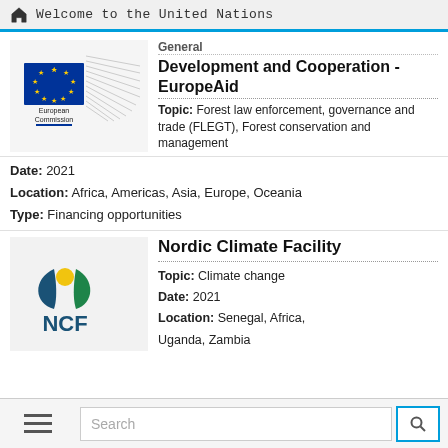Welcome to the United Nations
[Figure (logo): European Commission logo with EU flag (blue rectangle with yellow stars) and stylized wing design, text 'European Commission' below]
General Development and Cooperation - EuropeAid
Topic: Forest law enforcement, governance and trade (FLEGT), Forest conservation and management
Date: 2021
Location: Africa, Americas, Asia, Europe, Oceania
Type: Financing opportunities
[Figure (logo): Nordic Climate Facility (NCF) logo with blue and green leaf shapes and yellow circle, text 'NCF' below]
Nordic Climate Facility
Topic: Climate change
Date: 2021
Location: Senegal, Africa, Uganda, Zambia
Search